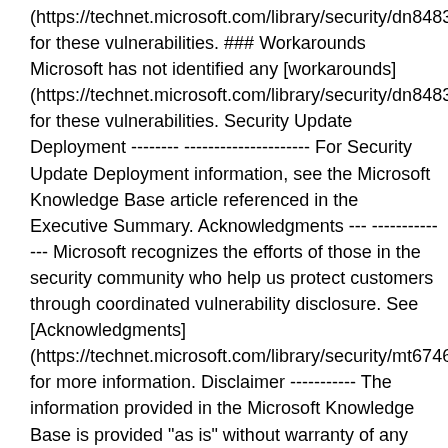(https://technet.microsoft.com/library/security/dn848375.aspx for these vulnerabilities. ### Workarounds Microsoft has not identified any [workarounds] (https://technet.microsoft.com/library/security/dn848375.aspx for these vulnerabilities. Security Update Deployment ------------------------- For Security Update Deployment information, see the Microsoft Knowledge Base article referenced in the Executive Summary. Acknowledgments --------------- Microsoft recognizes the efforts of those in the security community who help us protect customers through coordinated vulnerability disclosure. See [Acknowledgments] (https://technet.microsoft.com/library/security/mt674627.aspx for more information. Disclaimer ---------- The information provided in the Microsoft Knowledge Base is provided "as is" without warranty of any kind. Microsoft disclaims all warranties, either express or implied, including the warranties of merchantability and fitness for a particular